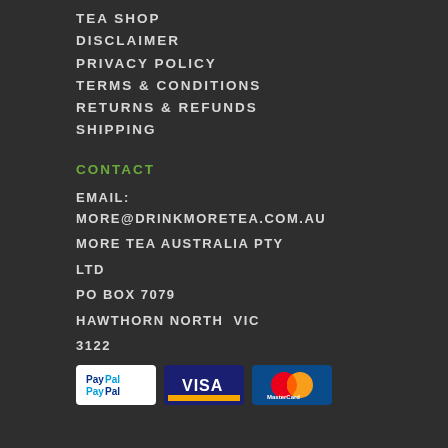TEA SHOP
DISCLAIMER
PRIVACY POLICY
TERMS & CONDITIONS
RETURNS & REFUNDS
SHIPPING
CONTACT
EMAIL:
MORE@DRINKMORETEA.COM.AU
MORE TEA AUSTRALIA PTY LTD
PO BOX 7079
HAWTHORN NORTH  VIC
3122
[Figure (logo): PayPal, Visa, and MasterCard payment logos]